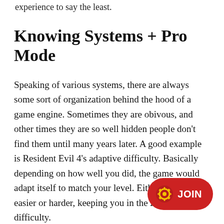experience to say the least.
Knowing Systems + Pro Mode
Speaking of various systems, there are always some sort of organization behind the hood of a game engine. Sometimes they are obivous, and other times they are so well hidden people don't find them until many years later. A good example is Resident Evil 4's adaptive difficulty. Basically depending on how well you did, the game would adapt itself to match your level. Either making it easier or harder, keeping you in the zone of flow difficulty.
[Figure (other): Red rounded pill-shaped JOIN button with a gear/settings icon on the left side]